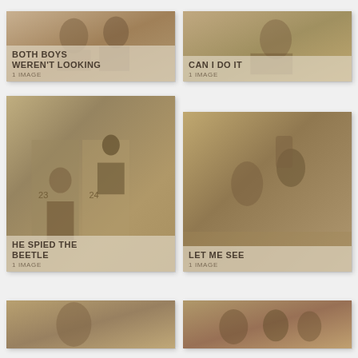[Figure (photo): Sepia-toned illustration showing two boys, clipping from vintage artwork. Title: BOTH BOYS WEREN'T LOOKING, 1 IMAGE]
BOTH BOYS WEREN'T LOOKING
1 IMAGE
[Figure (photo): Sepia-toned illustration, partially visible scene with figures. Title: CAN I DO IT, 1 IMAGE]
CAN I DO IT
1 IMAGE
[Figure (photo): Sepia-toned illustration of a boy crouching near numbered lockers/crates (23, 24), with an older figure peering over. Title: HE SPIED THE BEETLE, 1 IMAGE]
HE SPIED THE BEETLE
1 IMAGE
[Figure (photo): Sepia-toned illustration of two boys wrestling or playing, one bent over, in an outdoor setting. Title: LET ME SEE, 1 IMAGE]
LET ME SEE
1 IMAGE
[Figure (photo): Partially visible sepia-toned illustration at bottom left]
[Figure (photo): Partially visible sepia-toned illustration at bottom right]